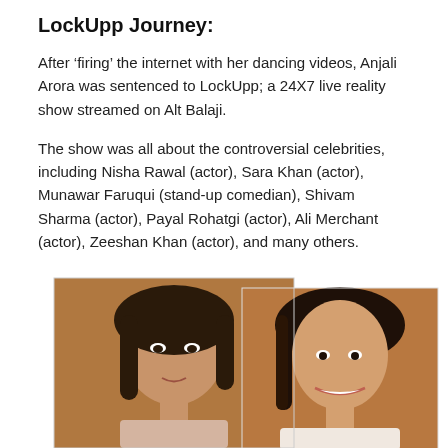LockUpp Journey:
After ‘firing’ the internet with her dancing videos, Anjali Arora was sentenced to LockUpp; a 24X7 live reality show streamed on Alt Balaji.
The show was all about the controversial celebrities, including Nisha Rawal (actor), Sara Khan (actor), Munawar Faruqui (stand-up comedian), Shivam Sharma (actor), Payal Rohatgi (actor), Ali Merchant (actor), Zeeshan Khan (actor), and many others.
[Figure (photo): Two photos of women side by side — left photo shows a young woman with dark hair looking at camera in a warm indoor setting, right photo shows another young woman smiling with dark hair in what appears to be a similar indoor setting.]